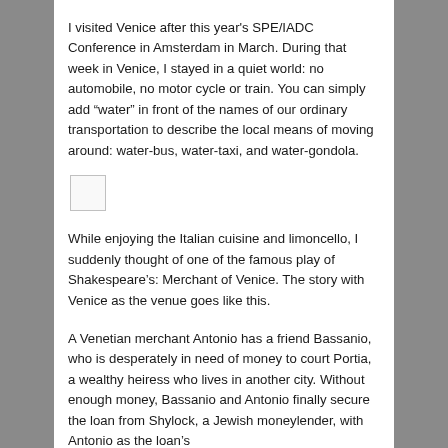I visited Venice after this year's SPE/IADC Conference in Amsterdam in March. During that week in Venice, I stayed in a quiet world: no automobile, no motor cycle or train. You can simply add “water” in front of the names of our ordinary transportation to describe the local means of moving around: water-bus, water-taxi, and water-gondola.
[Figure (other): Small square placeholder image or thumbnail]
While enjoying the Italian cuisine and limoncello, I suddenly thought of one of the famous play of Shakespeare’s: Merchant of Venice. The story with Venice as the venue goes like this.
A Venetian merchant Antonio has a friend Bassanio, who is desperately in need of money to court Portia, a wealthy heiress who lives in another city. Without enough money, Bassanio and Antonio finally secure the loan from Shylock, a Jewish moneylender, with Antonio as the loan’s guarantor. Shylock…